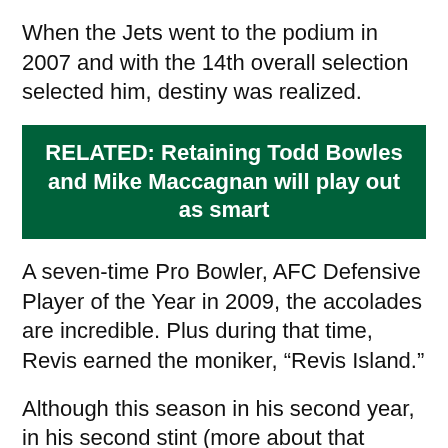When the Jets went to the podium in 2007 and with the 14th overall selection selected him, destiny was realized.
RELATED: Retaining Todd Bowles and Mike Maccagnan will play out as smart
A seven-time Pro Bowler, AFC Defensive Player of the Year in 2009, the accolades are incredible. Plus during that time, Revis earned the moniker, “Revis Island.”
Although this season in his second year, in his second stint (more about that later), he has fallen off the face of the Earth. Now, “Revis Island” is a vacation resort more so than a deserted island.